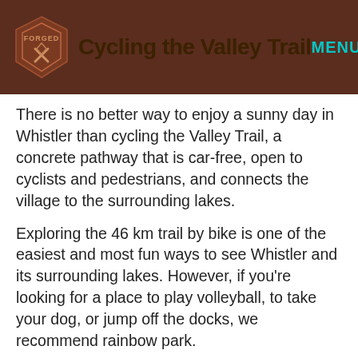Cycling the Valley Trail
There is no better way to enjoy a sunny day in Whistler than cycling the Valley Trail, a concrete pathway that is car-free, open to cyclists and pedestrians, and connects the village to the surrounding lakes.
Exploring the 46 km trail by bike is one of the easiest and most fun ways to see Whistler and its surrounding lakes. However, if you're looking for a place to play volleyball, to take your dog, or jump off the docks, we recommend rainbow park.
Didn't bring your bike? That's okay because Whistler is home to many bike rental stores that can help you rent easy-to-use bikes suitable for the Valley Trail.